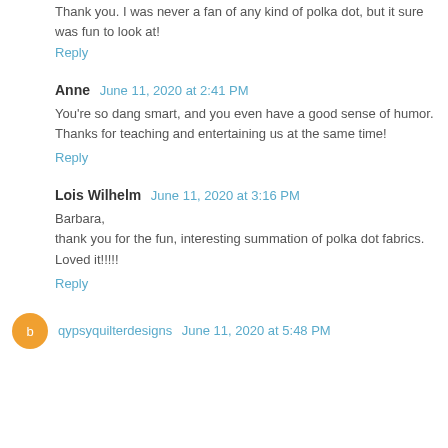Thank you. I was never a fan of any kind of polka dot, but it sure was fun to look at!
Reply
Anne  June 11, 2020 at 2:41 PM
You're so dang smart, and you even have a good sense of humor. Thanks for teaching and entertaining us at the same time!
Reply
Lois Wilhelm  June 11, 2020 at 3:16 PM
Barbara,
thank you for the fun, interesting summation of polka dot fabrics. Loved it!!!!!
Reply
qypsyquilterdesigns  June 11, 2020 at 5:48 PM